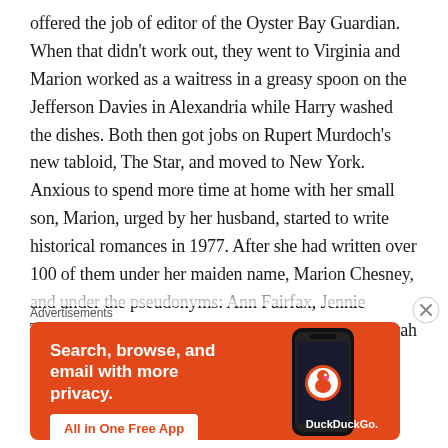offered the job of editor of the Oyster Bay Guardian. When that didn't work out, they went to Virginia and Marion worked as a waitress in a greasy spoon on the Jefferson Davies in Alexandria while Harry washed the dishes. Both then got jobs on Rupert Murdoch's new tabloid, The Star, and moved to New York. Anxious to spend more time at home with her small son, Marion, urged by her husband, started to write historical romances in 1977. After she had written over 100 of them under her maiden name, Marion Chesney, and under the pseudonyms: Ann Fairfax, Jennie Tremaine, Helen Crampton, Charlotte Ward, and Sarah Chester, she getting fed up with
Advertisements
[Figure (other): DuckDuckGo advertisement on orange background. Text reads: 'Search, browse, and email with more privacy.' with a button 'All in One Free App'. Shows a phone graphic and DuckDuckGo logo.]